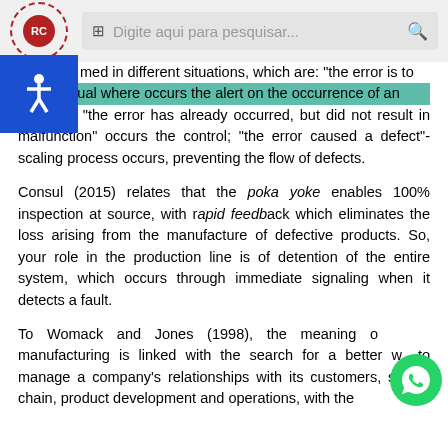Digite aqui para pesquisar...
med in different situations, which are: "the error is to usual where occurs the alert on the occurrence of an anomaly; "the error has already occurred, but did not result in malfunction" occurs the control; "the error caused a defect"-scaling process occurs, preventing the flow of defects.
Consul (2015) relates that the poka yoke enables 100% inspection at source, with rapid feedback which eliminates the loss arising from the manufacture of defective products. So, your role in the production line is of detention of the entire system, which occurs through immediate signaling when it detects a fault.
To Womack and Jones (1998), the meaning of manufacturing is linked with the search for a better way to manage a company's relationships with its customers, supply chain, product development and operations, with the